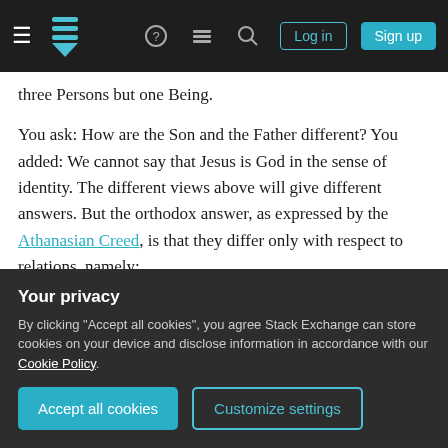Stack Exchange navigation bar with Log in and Sign up buttons
three Persons but one Being.
You ask: How are the Son and the Father different? You added: We cannot say that Jesus is God in the sense of identity. The different views above will give different answers. But the orthodox answer, as expressed by the Athanasian Creed, is that they differ only with respect to relations, namely:
That the Father begets the Son and
That the Holy Spirit proceeds from the Father and the Son (in Western orthodox theology)
Your privacy
By clicking "Accept all cookies", you agree Stack Exchange can store cookies on your device and disclose information in accordance with our Cookie Policy.